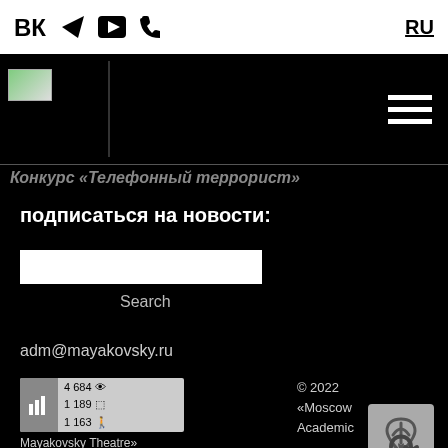VK Telegram YouTube Phone | RU
[Figure (screenshot): Black navigation header bar with logo placeholder and hamburger menu]
Конкурс «Телефонный террорист»
подписаться на новости:
Search
adm@mayakovsky.ru
[Figure (other): Stats widget showing 4684 views, 1189 entries, 1163 users]
© 2022
«Moscow Academic Mayakovsky Theatre»
All right reserved.